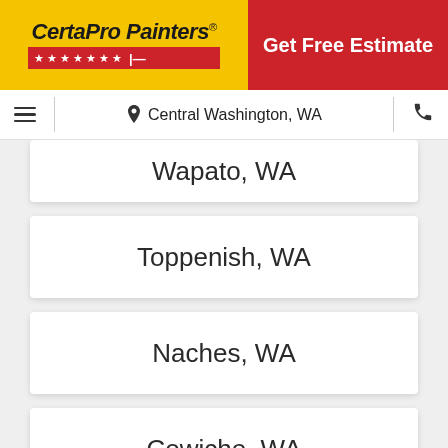[Figure (logo): CertaPro Painters logo with yellow background, red star bar, and red CTA button saying Get Free Estimate]
Central Washington, WA
Wapato, WA
Toppenish, WA
Naches, WA
Cowiche, WA
Tieton, WA